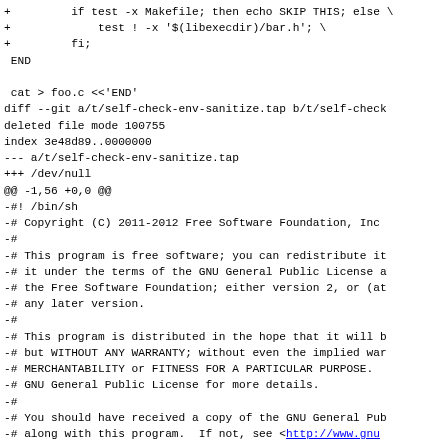+         if test -x Makefile; then echo SKIP THIS; else \
+             test ! -x '$(libexecdir)/bar.h'; \
+         fi;
 END

 cat > foo.c <<'END'
diff --git a/t/self-check-env-sanitize.tap b/t/self-check
deleted file mode 100755
index 3e48d89..0000000
--- a/t/self-check-env-sanitize.tap
+++ /dev/null
@@ -1,56 +0,0 @@
-#! /bin/sh
-# Copyright (C) 2011-2012 Free Software Foundation, Inc
-#
-# This program is free software; you can redistribute it
-# it under the terms of the GNU General Public License a
-# the Free Software Foundation; either version 2, or (at
-# any later version.
-#
-# This program is distributed in the hope that it will b
-# but WITHOUT ANY WARRANTY; without even the implied war
-# MERCHANTABILITY or FITNESS FOR A PARTICULAR PURPOSE.
-# GNU General Public License for more details.
-#
-# You should have received a copy of the GNU General Pub
-# along with this program.  If not, see <http://www.gnu
-
-# Sanity check for the automake testsuite.
-# Make sure that the testsuite initialization code compi
-# some testsuite influential variables are set in the...